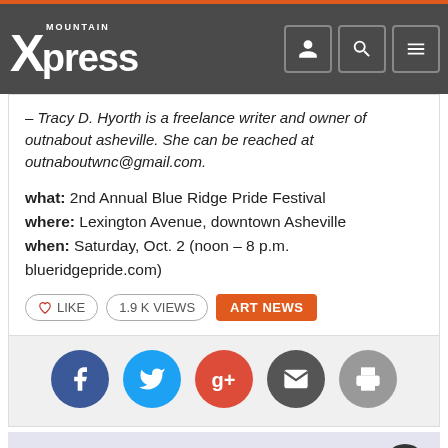Mountain Xpress
– Tracy D. Hyorth is a freelance writer and owner of outnabout asheville. She can be reached at outnaboutwnc@gmail.com.
what: 2nd Annual Blue Ridge Pride Festival
where: Lexington Avenue, downtown Asheville
when: Saturday, Oct. 2 (noon – 8 p.m. blueridgepride.com)
[Figure (infographic): Social share buttons: Facebook, Twitter, Google+, Email, Print]
Thanks for reading through to the end...
We share your inclination to get the whole story. For the past 25 years, Xpress has been committed to in-depth, balanced reporting about the greater Asheville area. We